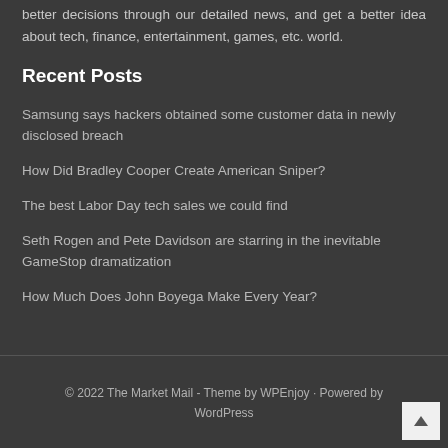better decisions through our detailed news, and get a better idea about tech, finance, entertainment, games, etc. world.
Recent Posts
Samsung says hackers obtained some customer data in newly disclosed breach
How Did Bradley Cooper Create American Sniper?
The best Labor Day tech sales we could find
Seth Rogen and Pete Davidson are starring in the inevitable GameStop dramatization
How Much Does John Boyega Make Every Year?
© 2022 The Market Mail - Theme by WPEnjoy · Powered by WordPress